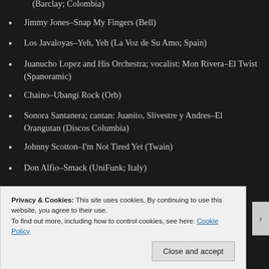(Barclay; Colombia)
Jimmy Jones–Snap My Fingers (Bell)
Los Javaloyas–Yeh, Yeh (La Voz de Su Amo; Spain)
Juanucho Lopez and His Orchestra; vocalist: Mon Rivera–El Twist (Spanoramic)
Chaino–Ubangi Rock (Orb)
Sonora Santanera; cantan: Juanito, Slivestre y Andres–El Orangutan (Discos Columbia)
Johnny Scotton–I'm Not Tired Yet (Twain)
Don Alfio–Smack (UniFunk; Italy)
Privacy & Cookies: This site uses cookies. By continuing to use this website, you agree to their use.
To find out more, including how to control cookies, see here: Cookie Policy
Close and accept